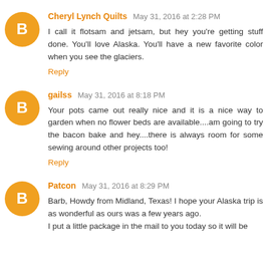Cheryl Lynch Quilts May 31, 2016 at 2:28 PM
I call it flotsam and jetsam, but hey you're getting stuff done. You'll love Alaska. You'll have a new favorite color when you see the glaciers.
Reply
gailss May 31, 2016 at 8:18 PM
Your pots came out really nice and it is a nice way to garden when no flower beds are available....am going to try the bacon bake and hey....there is always room for some sewing around other projects too!
Reply
Patcon May 31, 2016 at 8:29 PM
Barb, Howdy from Midland, Texas! I hope your Alaska trip is as wonderful as ours was a few years ago. I put a little package in the mail to you today so it will be